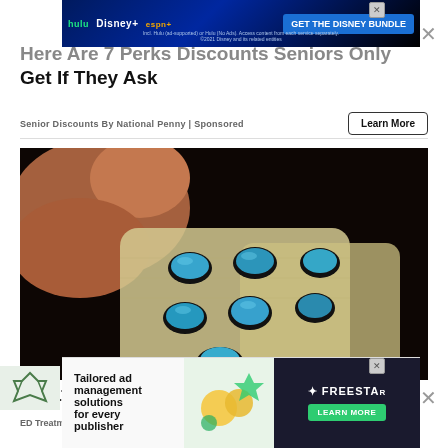[Figure (screenshot): Disney Bundle advertisement banner with Hulu, Disney+, ESPN+ logos and 'GET THE DISNEY BUNDLE' call to action button. Subtext: Incl. Hulu (ad-supported) or Hulu (No Ads). Access content from each service separately. ©2021 Disney and its related entities]
Here Are 7 Perks Discounts Seniors Only Get If They Ask
Senior Discounts By National Penny | Sponsored
[Figure (photo): Hand holding blister pack of blue diamond-shaped pills (resembling generic Viagra/ED medication) against dark background]
Treatments Men Would Love
ED Treatments | Search Ads | Sponsored
[Figure (screenshot): Freestar advertisement: 'Tailored ad management solutions for every publisher' with LEARN MORE button and decorative graphics including coins and shield icons]